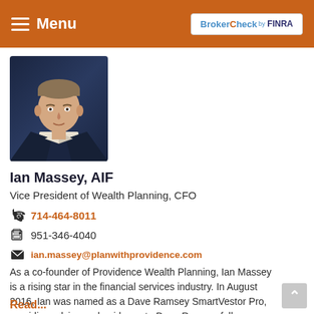Menu | BrokerCheck by FINRA
[Figure (photo): Headshot of Ian Massey wearing a dark navy suit and patterned tie against a light background]
Ian Massey, AIF
Vice President of Wealth Planning, CFO
714-464-8011
951-346-4040
ian.massey@planwithprovidence.com
As a co-founder of Providence Wealth Planning, Ian Massey is a rising star in the financial services industry. In August 2016, Ian was named as a Dave Ramsey SmartVestor Pro, providing advice and guidance to Dave Ramsey followers. Ian...
Read...